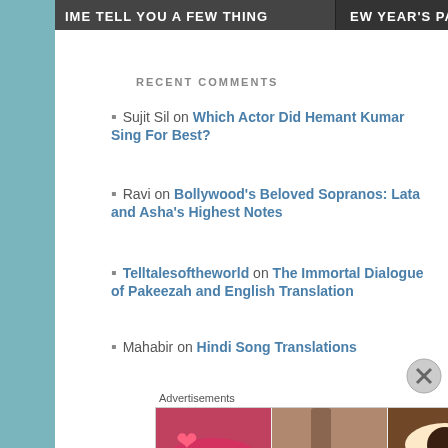[Figure (screenshot): Banner image showing partial text: 'IME TELL YOU A FEW THING', 'EW YEAR'S PARTY', 'BE YOUR GRAHAM MAS!']
RECENT COMMENTS
Sujit Sil on Which Actor Did Hemant Kumar Sing For Best?
Ravi on Bollywood's Beloved Sopranos: Lata and Asha's Highest Notes
Telltalesoftheworld on The Immortal Dialogue of Pakeezah and English Translation
Mahabir on Hindi Song Translations
Jane Woh Kaise Log The Lyrics In Hindi Site - logininfos.com on Jaane Woh Kaise Log Lyrics and Translation: Let's Learn Urdu-Hindi
RECENT POSTS
Naam Gum Jayega Lyrics and English Translation: Let's Learn Urdu-Hindi
Advertisements
[Figure (photo): Ulta beauty advertisement banner with makeup images and 'SHOP NOW' text]